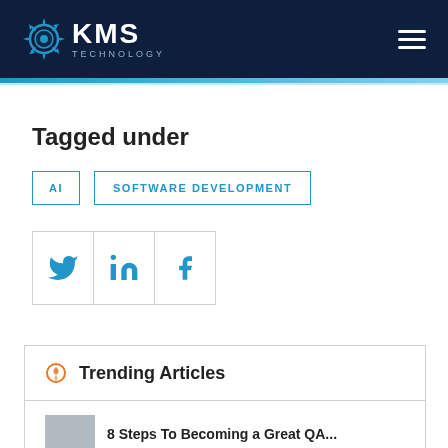KMS TECHNOLOGY
Tagged under
AI
SOFTWARE DEVELOPMENT
[Figure (other): Social share icons: Twitter, LinkedIn, Facebook]
Trending Articles
8 Steps To Becoming a Great QA...